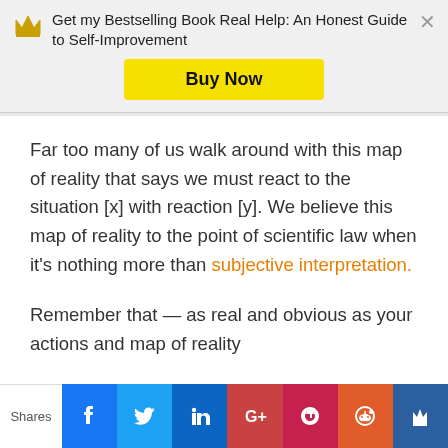Get my Bestselling Book Real Help: An Honest Guide to Self-Improvement
Far too many of us walk around with this map of reality that says we must react to the situation [x] with reaction [y]. We believe this map of reality to the point of scientific law when it's nothing more than subjective interpretation.
Remember that — as real and obvious as your actions and map of reality
Shares | Facebook | Twitter | LinkedIn | Google+ | Pocket | Reddit | Crown